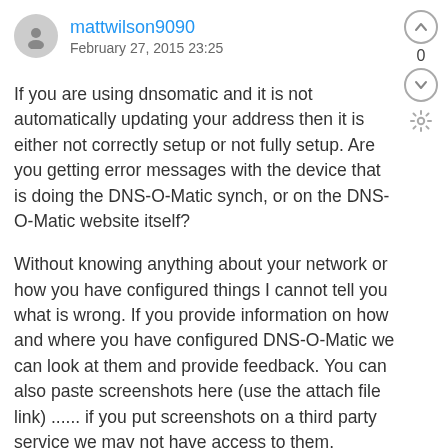mattwilson9090
February 27, 2015 23:25
If you are using dnsomatic and it is not automatically updating your address then it is either not correctly setup or not fully setup. Are you getting error messages with the device that is doing the DNS-O-Matic synch, or on the DNS-O-Matic website itself?
Without knowing anything about your network or how you have configured things I cannot tell you what is wrong. If you provide information on how and where you have configured DNS-O-Matic we can look at them and provide feedback. You can also paste screenshots here (use the attach file link) ...... if you put screenshots on a third party service we may not have access to them.